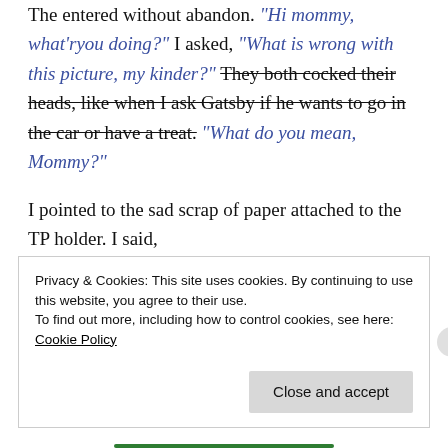The entered without abandon. "Hi mommy, what'ryou doing?" I asked, "What is wrong with this picture, my kinder?" They both cocked their heads, like when I ask Gatsby if he wants to go in the car or have a treat. "What do you mean, Mommy?"
I pointed to the sad scrap of paper attached to the TP holder. I said,
Privacy & Cookies: This site uses cookies. By continuing to use this website, you agree to their use.
To find out more, including how to control cookies, see here: Cookie Policy